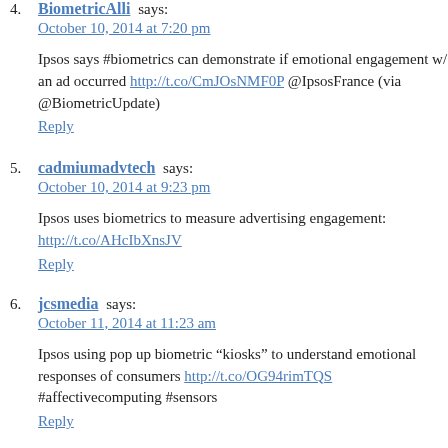4. BiometricAlli says:
October 10, 2014 at 7:20 pm

Ipsos says #biometrics can demonstrate if emotional engagement w/ an ad occurred http://t.co/CmJOsNMF0P @IpsosFrance (via @BiometricUpdate)
Reply
5. cadmiumadvtech says:
October 10, 2014 at 9:23 pm

Ipsos uses biometrics to measure advertising engagement: http://t.co/AHcIbXnsJV
Reply
6. jcsmedia says:
October 11, 2014 at 11:23 am

Ipsos using pop up biometric “kiosks” to understand emotional responses of consumers http://t.co/OG94rimTQS #affectivecomputing #sensors
Reply